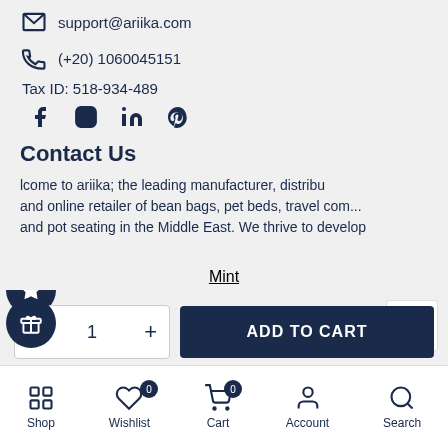support@ariika.com
(+20) 1060045151
Tax ID: 518-934-489
[Figure (infographic): Social media icons: Facebook, Instagram, LinkedIn, Pinterest]
Contact Us
lcome to ariika; the leading manufacturer, distribu and online retailer of bean bags, pet beds, travel com... and pot seating in the Middle East. We thrive to develop
Mint
1  ADD TO CART
Shop  Wishlist  Cart  Account  Search